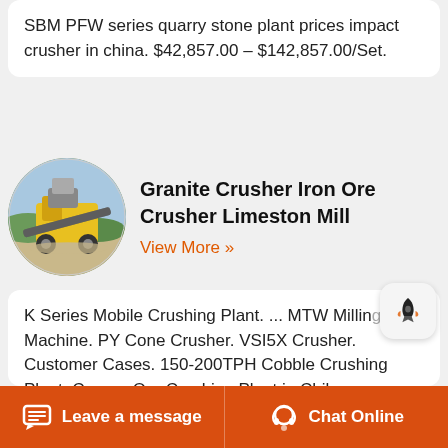SBM PFW series quarry stone plant prices impact crusher in china. $42,857.00 - $142,857.00/Set.
[Figure (photo): Circular thumbnail photo of a quarry stone crusher / mobile crushing plant machine outdoors]
Granite Crusher Iron Ore Crusher Limeston Mill
View More »
K Series Mobile Crushing Plant. ... MTW Milling Machine. PY Cone Crusher. VSI5X Crusher. Customer Cases. 150-200TPH Cobble Crushing Plant. Copper Ore Crushing Plant in Chile. Limestone and Granite Crush Plant in Iran. Rod Mill Grinding Line in China. large capacity sand washing machine K Series Mobile
Leave a message   Chat Online